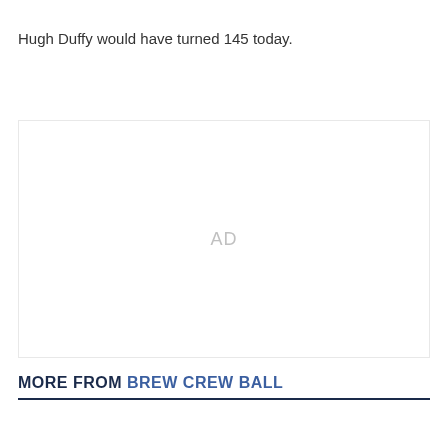Hugh Duffy would have turned 145 today.
[Figure (other): Advertisement placeholder with 'AD' text centered in a light bordered box]
MORE FROM BREW CREW BALL